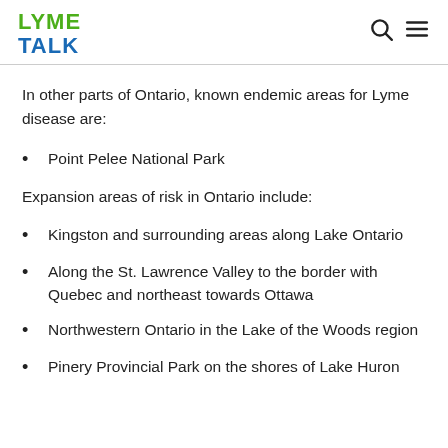LYME TALK
In other parts of Ontario, known endemic areas for Lyme disease are:
Point Pelee National Park
Expansion areas of risk in Ontario include:
Kingston and surrounding areas along Lake Ontario
Along the St. Lawrence Valley to the border with Quebec and northeast towards Ottawa
Northwestern Ontario in the Lake of the Woods region
Pinery Provincial Park on the shores of Lake Huron